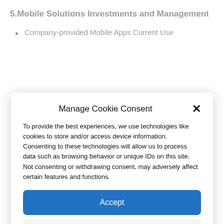5.Mobile Solutions Investments and Management
Company-provided Mobile Apps Current Use
Manage Cookie Consent
To provide the best experiences, we use technologies like cookies to store and/or access device information. Consenting to these technologies will allow us to process data such as browsing behavior or unique IDs on this site. Not consenting or withdrawing consent, may adversely affect certain features and functions.
Accept
Deny
View preferences
Cookie Policy